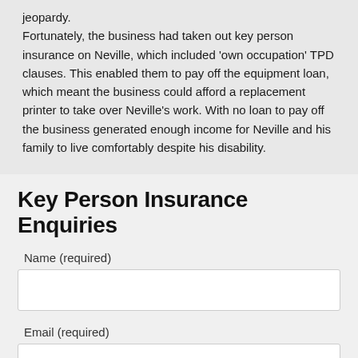jeopardy.

Fortunately, the business had taken out key person insurance on Neville, which included 'own occupation' TPD clauses. This enabled them to pay off the equipment loan, which meant the business could afford a replacement printer to take over Neville's work. With no loan to pay off the business generated enough income for Neville and his family to live comfortably despite his disability.
Key Person Insurance Enquiries
Name (required)
Email (required)